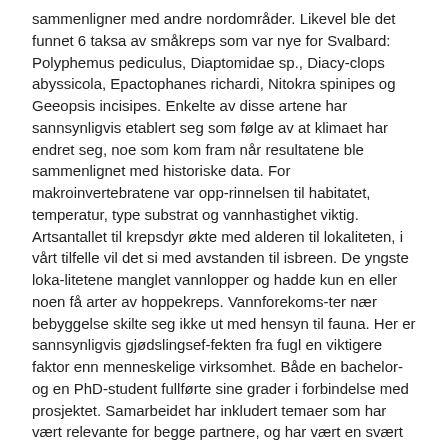sammenligner med andre nordområder. Likevel ble det funnet 6 taksa av småkreps som var nye for Svalbard: Polyphemus pediculus, Diaptomidae sp., Diacy-clops abyssicola, Epactophanes richardi, Nitokra spinipes og Geeopsis incisipes. Enkelte av disse artene har sannsynligvis etablert seg som følge av at klimaet har endret seg, noe som kom fram når resultatene ble sammenlignet med historiske data. For makroinvertebratene var opp-rinnelsen til habitatet, temperatur, type substrat og vannhastighet viktig. Artsantallet til krepsdyr økte med alderen til lokaliteten, i vårt tilfelle vil det si med avstanden til isbreen. De yngste loka-litetene manglet vannlopper og hadde kun en eller noen få arter av hoppekreps. Vannforekoms-ter nær bebyggelse skilte seg ikke ut med hensyn til fauna. Her er sannsynligvis gjødslingsef-fekten fra fugl en viktigere faktor enn menneskelige virksomhet. Både en bachelor- og en PhD-student fullførte sine grader i forbindelse med prosjektet. Samarbeidet har inkludert temaer som har vært relevante for begge partnere, og har vært en svært positiv erfaring. Videre vil ny kunn-skap om Svalbards biodiversitet gi viktige bidrag til framtidig forvaltning og overvåking av fersk-vannsforekomster. I kjølvannet av FREMONEC er det startet opp to nye forskningsrådsprosjek-ter basert på samarbeid mellom de samme forskerne (NORUSVA og BRANTA-DULCIS).